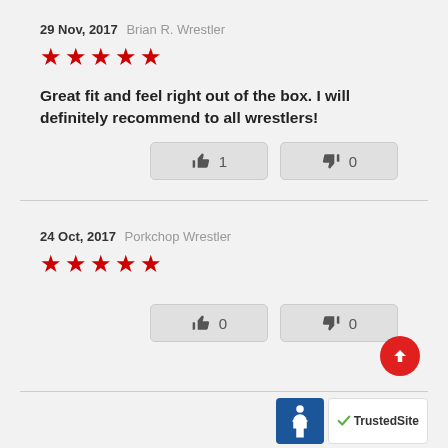29 Nov, 2017 Brian R. Wrestler
[Figure (other): 5 red star rating]
Great fit and feel right out of the box. I will definitely recommend to all wrestlers!
[Figure (other): Thumbs up button with count 1 and thumbs down button with count 0]
24 Oct, 2017 Porkchop Wrestler
[Figure (other): 5 red star rating]
[Figure (other): Thumbs up button with count 0 and thumbs down button with count 0]
[Figure (logo): ADA accessibility logo and TrustedSite badge]